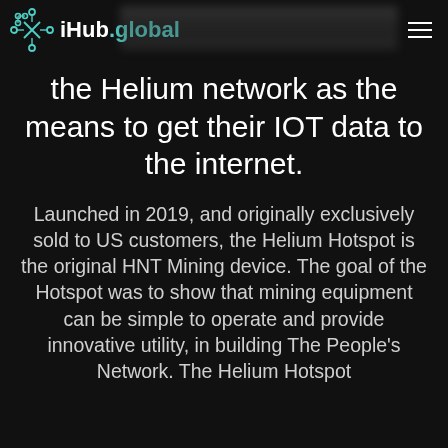iHub.global
the Helium network as the means to get their IOT data to the internet.
Launched in 2019, and originally exclusively sold to US customers, the Helium Hotspot is the original HNT Mining device. The goal of the Hotspot was to show that mining equipment can be simple to operate and provide innovative utility, in building The People's Network. The Helium Hotspot